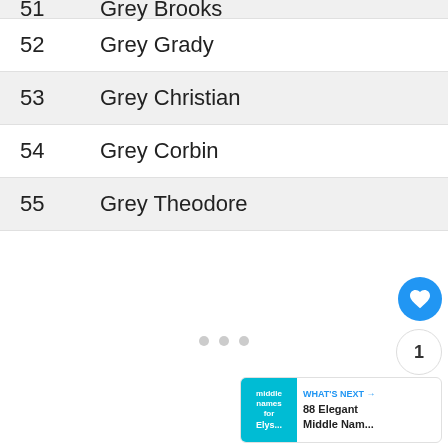| # | Name |
| --- | --- |
| 51 | Grey Brooks |
| 52 | Grey Grady |
| 53 | Grey Christian |
| 54 | Grey Corbin |
| 55 | Grey Theodore |
[Figure (infographic): Social interaction buttons: heart/like button (blue circle, count=1), share button (white circle). Three pagination dots in center. 'What's Next' card showing '88 Elegant Middle Nam...' with teal thumbnail.]
[Figure (infographic): Advertisement banner: 'It's time to talk about Alzheimer's.' with LEARN MORE button and Alzheimer's Association logo on dark background.]